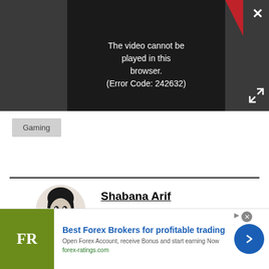[Figure (screenshot): Video player with dark background showing error message: 'The video cannot be played in this browser. (Error Code: 242632)' with PLAY SOUND control bar at top, close X button top right, expand button bottom right.]
Gaming
[Figure (photo): Black and white circular portrait photo of Shabana Arif]
Shabana Arif
[Figure (infographic): Social media icons: Twitter (blue), Instagram (pink/magenta), LinkedIn (blue), Email (grey outline)]
[Figure (infographic): Advertisement banner: Best Forex Brokers for profitable trading. FR logo in olive green. Open Forex Account, receive Bonus and start earning Now. forex-ratings.com]